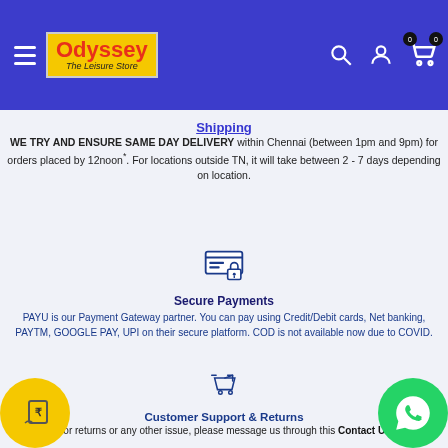[Figure (screenshot): Odyssey - The Leisure Store website header with logo, hamburger menu, search, profile, and cart icons on blue background]
Shipping
WE TRY AND ENSURE SAME DAY DELIVERY within Chennai (between 1pm and 9pm) for orders placed by 12noon*. For locations outside TN, it will take between 2 - 7 days depending on location.
[Figure (illustration): Secure payment icon showing credit card with padlock]
Secure Payments
PAYU is our Payment Gateway partner. You can pay using Credit/Debit cards, Net banking, PAYTM, GOOGLE PAY, UPI on their secure platform. COD is not available now due to COVID.
[Figure (illustration): Customer support and returns icon - shopping cart with return arrow]
Customer Support & Returns
For returns or any other issue, please message us through this Contact Us